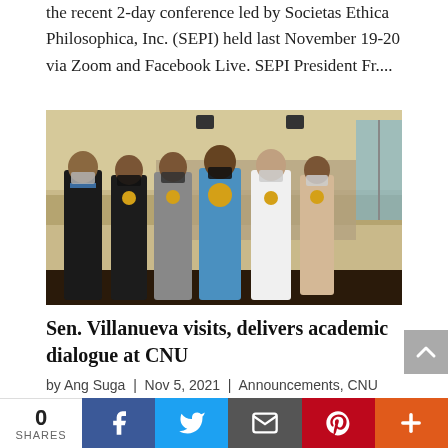the recent 2-day conference led by Societas Ethica Philosophica, Inc. (SEPI) held last November 19-20 via Zoom and Facebook Live. SEPI President Fr....
[Figure (photo): Group photo of officials and guests wearing face masks and medals at an indoor event venue.]
Sen. Villanueva visits, delivers academic dialogue at CNU
by Ang Suga | Nov 5, 2021 | Announcements, CNU Updates 2021, CNU-VSMMC College of Medicine,